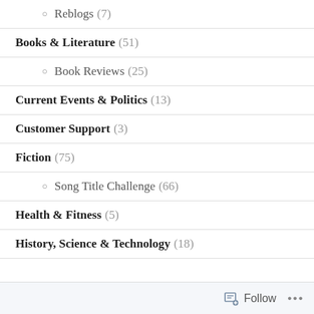Reblogs (7)
Books & Literature (51)
Book Reviews (25)
Current Events & Politics (13)
Customer Support (3)
Fiction (75)
Song Title Challenge (66)
Health & Fitness (5)
History, Science & Technology (18)
Follow ...